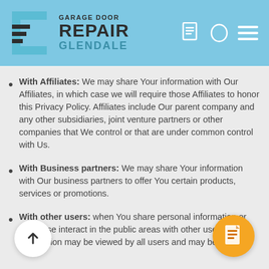[Figure (logo): Garage Door Repair Glendale logo with teal garage icon and text, plus navigation icons]
With Affiliates: We may share Your information with Our Affiliates, in which case we will require those Affiliates to honor this Privacy Policy. Affiliates include Our parent company and any other subsidiaries, joint venture partners or other companies that We control or that are under common control with Us.
With Business partners: We may share Your information with Our business partners to offer You certain products, services or promotions.
With other users: when You share personal information or otherwise interact in the public areas with other users, such information may be viewed by all users and may be publicly